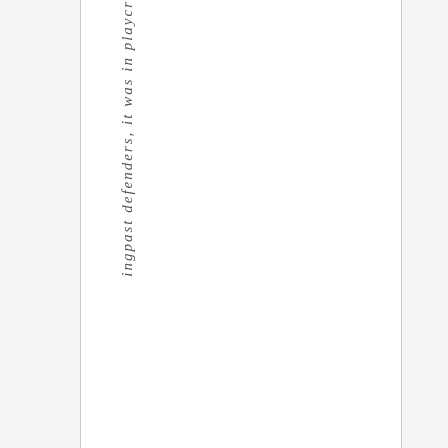ingpast defenders, it was in playc r